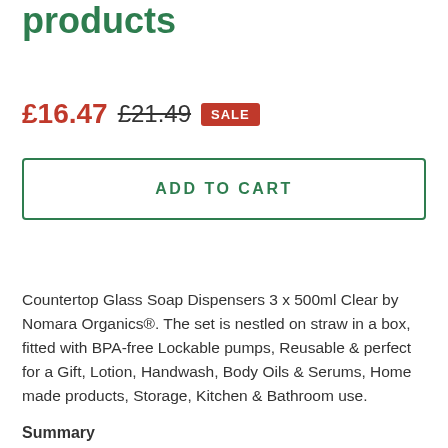products
£16.47  £21.49  SALE
ADD TO CART
Countertop Glass Soap Dispensers 3 x 500ml Clear by Nomara Organics®. The set is nestled on straw in a box, fitted with BPA-free Lockable pumps, Reusable & perfect for a Gift, Lotion, Handwash, Body Oils & Serums, Home made products, Storage, Kitchen & Bathroom use.
Summary